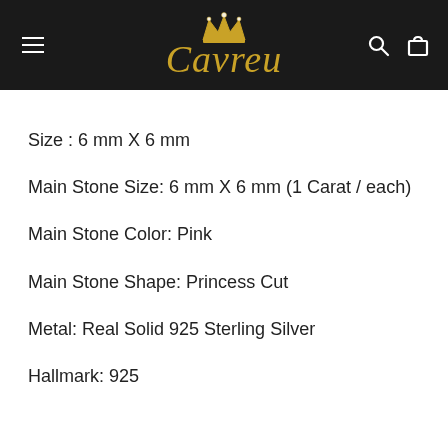Cavreu — navigation header with logo, hamburger menu, search and cart icons
Size : 6 mm X 6 mm
Main Stone Size: 6 mm X 6 mm (1 Carat / each)
Main Stone Color: Pink
Main Stone Shape: Princess Cut
Metal: Real Solid 925 Sterling Silver
Hallmark: 925